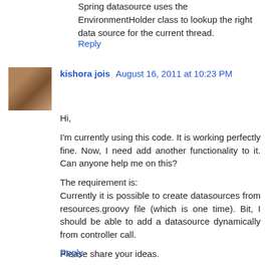Spring datasource uses the EnvironmentHolder class to lookup the right data source for the current thread.
Reply
[Figure (photo): Avatar photo of kishora jois, a young man]
kishora jois August 16, 2011 at 10:23 PM
Hi,

I'm currently using this code. It is working perfectly fine. Now, I need add another functionality to it. Can anyone help me on this?

The requirement is:
Currently it is possible to create datasources from resources.groovy file (which is one time). Bit, I should be able to add a datasource dynamically from controller call.

Please share your ideas.

- kishore
Reply